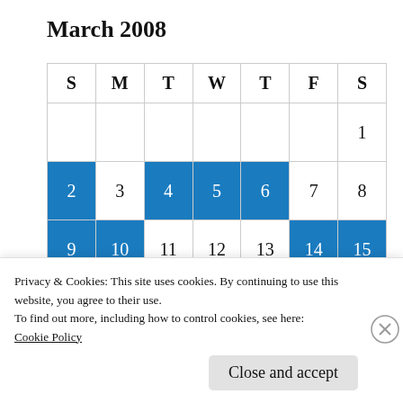March 2008
| S | M | T | W | T | F | S |
| --- | --- | --- | --- | --- | --- | --- |
|  |  |  |  |  |  | 1 |
| 2 | 3 | 4 | 5 | 6 | 7 | 8 |
| 9 | 10 | 11 | 12 | 13 | 14 | 15 |
| 16 | 17 | 18 | 19 | 20 | 21 | 22 |
| 23 | 24 | 25 | 26 | 27 | 28 | 29 |
Privacy & Cookies: This site uses cookies. By continuing to use this website, you agree to their use.
To find out more, including how to control cookies, see here:
Cookie Policy
Close and accept